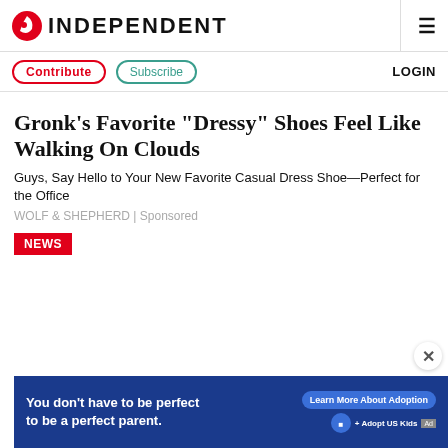INDEPENDENT
Contribute | Subscribe | LOGIN
Gronk's Favorite "Dressy" Shoes Feel Like Walking On Clouds
Guys, Say Hello to Your New Favorite Casual Dress Shoe—Perfect for the Office
WOLF & SHEPHERD | Sponsored
NEWS
[Figure (infographic): Blue banner advertisement: 'You don't have to be perfect to be a perfect parent.' with 'Learn More About Adoption' button and Adopt US Kids logo]